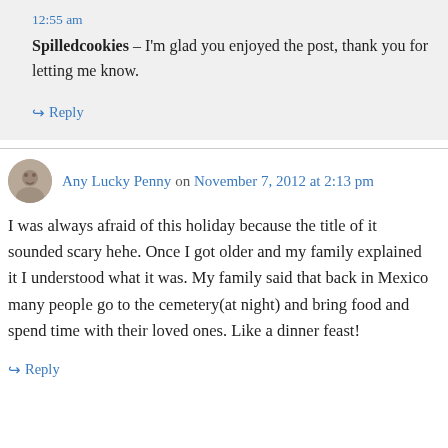12:55 am
Spilledcookies – I'm glad you enjoyed the post, thank you for letting me know.
↪ Reply
Any Lucky Penny on November 7, 2012 at 2:13 pm
I was always afraid of this holiday because the title of it sounded scary hehe. Once I got older and my family explained it I understood what it was. My family said that back in Mexico many people go to the cemetery(at night) and bring food and spend time with their loved ones. Like a dinner feast!
↪ Reply